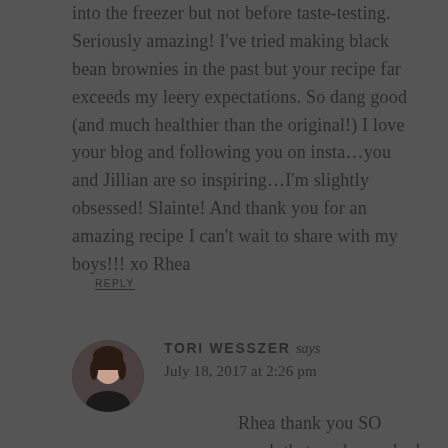into the freezer but not before taste-testing. Seriously amazing! I've tried making black bean brownies in the past but your recipe far exceeds my leery expectations. So dang good (and much healthier than the original!) I love your blog and following you on insta…you and Jillian are so inspiring…I'm slightly obsessed! Slainte! And thank you for an amazing recipe I can't wait to share with my boys!!! xo Rhea
REPLY
[Figure (photo): Circular avatar photo of Tori Wesszer, a woman with dark hair]
TORI WESSZER says
July 18, 2017 at 2:26 pm
Rhea thank you SO much that made my day! I'm glad that the sub with the cherry...